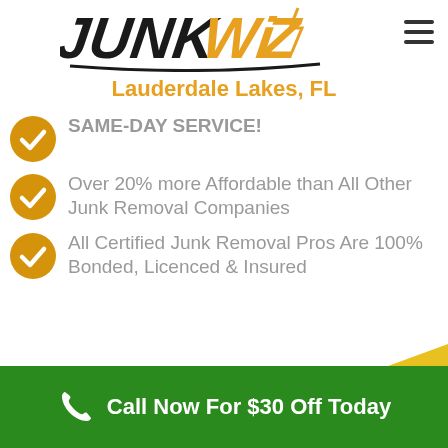[Figure (logo): JunkWiz logo in black and orange italic stylized font with lightning bolt]
Lauderdale Lakes, FL
SAME-DAY SERVICE!
Over 20% more Affordable than All Other Junk Removal Companies
All Certified Junk Removal Pros Are 100% Bonded, Licenced & Insured
Call Now For $30 Off Today